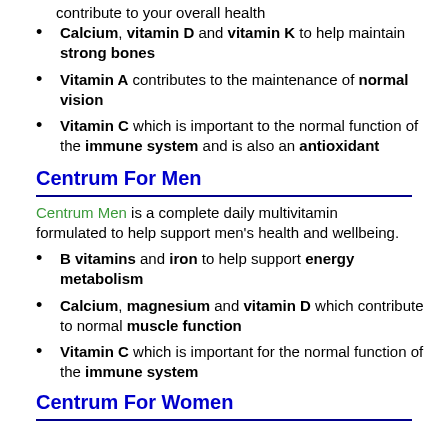Calcium, vitamin D and vitamin K to help maintain strong bones
Vitamin A contributes to the maintenance of normal vision
Vitamin C which is important to the normal function of the immune system and is also an antioxidant
Centrum For Men
Centrum Men is a complete daily multivitamin formulated to help support men's health and wellbeing.
B vitamins and iron to help support energy metabolism
Calcium, magnesium and vitamin D which contribute to normal muscle function
Vitamin C which is important for the normal function of the immune system
Centrum For Women